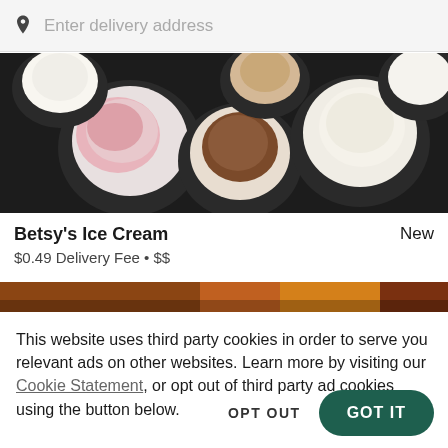Enter delivery address
[Figure (photo): Overhead shot of multiple bowls of ice cream scoops on a dark table — strawberry, chocolate, vanilla, and caramel flavors visible]
Betsy's Ice Cream
New
$0.49 Delivery Fee • $$
[Figure (photo): Partial view of a food photo strip showing cooked meat and sides]
This website uses third party cookies in order to serve you relevant ads on other websites. Learn more by visiting our Cookie Statement, or opt out of third party ad cookies using the button below.
OPT OUT
GOT IT